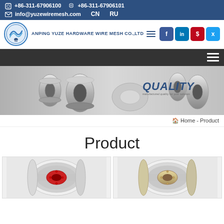+86-311-67906100  +86-311-67906101  info@yuzewiremesh.com  CN  RU
[Figure (logo): Anping Yuze Hardware Wire Mesh Co.,Ltd logo with blue circular emblem and social media icons (Facebook, LinkedIn, Pinterest, Twitter)]
[Figure (screenshot): Navigation bar with hamburger menu icon on dark background]
[Figure (photo): Banner image showing metallic wire spools and wire coils with text QUALITY in blue bold italic font]
Home - Product
Product
[Figure (photo): Product card showing a wire spool with red hub/core]
[Figure (photo): Product card showing a wire spool with natural/beige hub]